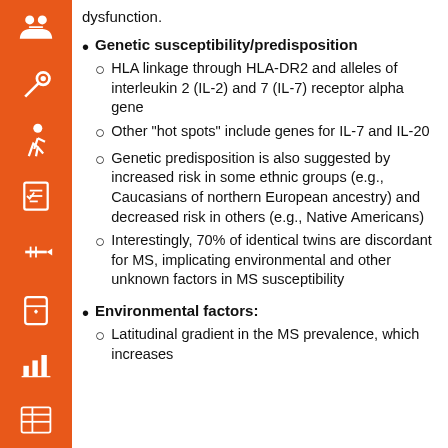dysfunction.
Genetic susceptibility/predisposition
HLA linkage through HLA-DR2 and alleles of interleukin 2 (IL-2) and 7 (IL-7) receptor alpha gene
Other “hot spots” include genes for IL-7 and IL-20
Genetic predisposition is also suggested by increased risk in some ethnic groups (e.g., Caucasians of northern European ancestry) and decreased risk in others (e.g., Native Americans)
Interestingly, 70% of identical twins are discordant for MS, implicating environmental and other unknown factors in MS susceptibility
Environmental factors:
Latitudinal gradient in the MS prevalence, which increases